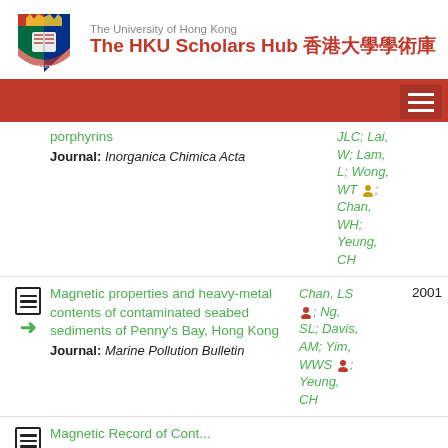The University of Hong Kong — The HKU Scholars Hub 香港大學學術庫
porphyrins
Journal: Inorganica Chimica Acta
Authors: JLC; Lai, W; Lam, L; Wong, WT; Chan, WH; Yeung, CH
Magnetic properties and heavy-metal contents of contaminated seabed sediments of Penny's Bay, Hong Kong
Journal: Marine Pollution Bulletin
Authors: Chan, LS; Ng, SL; Davis, AM; Yim, WWS; Yeung, CH
Year: 2001
Magnetic Record of Cont...